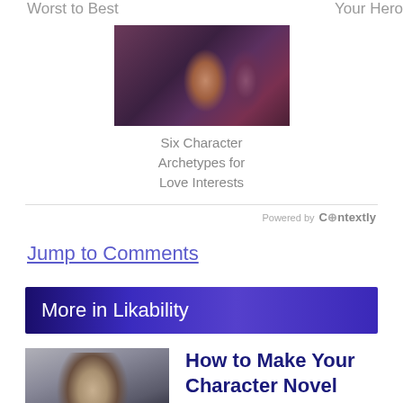Worst to Best
Your Hero
[Figure (illustration): Illustrated image of two characters about to kiss, rendered in purple/pink tones]
Six Character Archetypes for Love Interests
Powered by Contextly
Jump to Comments
More in Likability
[Figure (photo): Photo of a man (Spock-like character) with dark hair against a dark background]
How to Make Your Character Novel